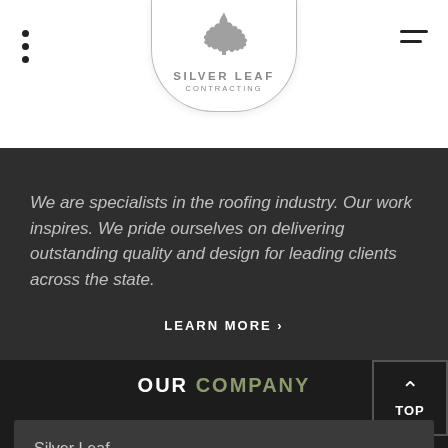[Figure (logo): Silver Leaf Contracting logo with maple leaf inside a shield shape, text reads SILVER LEAF CONTRACTING]
We are specialists in the roofing industry. Our work inspires. We pride ourselves on delivering outstanding quality and design for leading clients across the state.
LEARN MORE ›
OUR COMPANY
Silver Leaf Contracting
1241 Johnson St SE